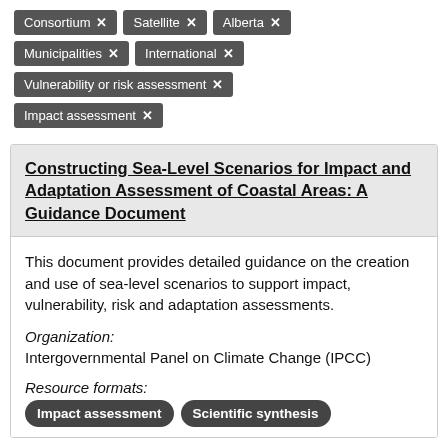Consortium ✕
Satellite ✕
Alberta ✕
Municipalities ✕
International ✕
Vulnerability or risk assessment ✕
Impact assessment ✕
Constructing Sea-Level Scenarios for Impact and Adaptation Assessment of Coastal Areas: A Guidance Document
This document provides detailed guidance on the creation and use of sea-level scenarios to support impact, vulnerability, risk and adaptation assessments.
Organization:
Intergovernmental Panel on Climate Change (IPCC)
Resource formats:
Impact assessment
Scientific synthesis